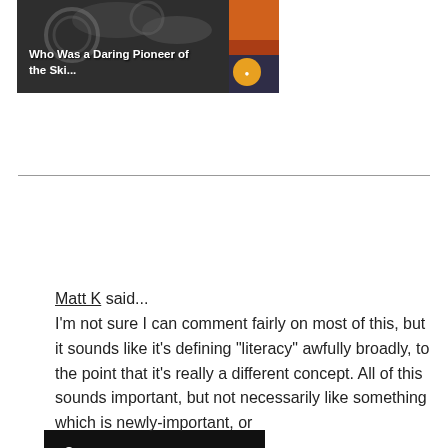[Figure (illustration): Advertisement image showing 'Who Was a Daring Pioneer of the Ski...' with dark background, gear/mechanical imagery, and an orange badge.]
2 comments:
Matt K said... I'm not sure I can comment fairly on most of this, but it sounds like it's defining "literacy" awfully broadly, to the point that it's really a different concept. All of this sounds important, but not necessarily like something which is newly-important, or